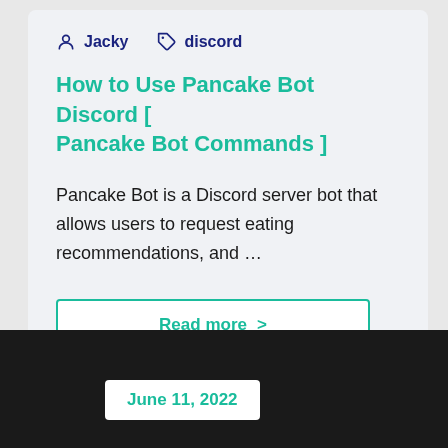Jacky  discord
How to Use Pancake Bot Discord [ Pancake Bot Commands ]
Pancake Bot is a Discord server bot that allows users to request eating recommendations, and …
Read more >
June 11, 2022